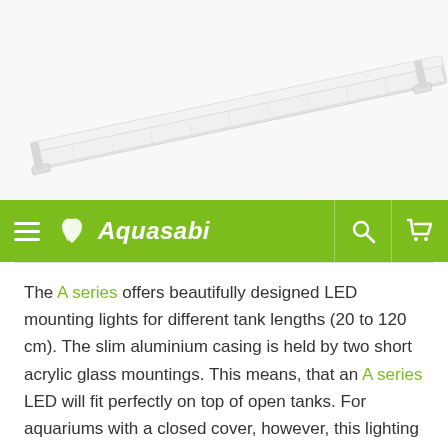[Figure (photo): LED aquarium mounting light bar, slim aluminium casing shown at an angle on white background]
Aquasabi
The A series offers beautifully designed LED mounting lights for different tank lengths (20 to 120 cm). The slim aluminium casing is held by two short acrylic glass mountings. This means, that an A series LED will fit perfectly on top of open tanks. For aquariums with a closed cover, however, this lighting is not suitable